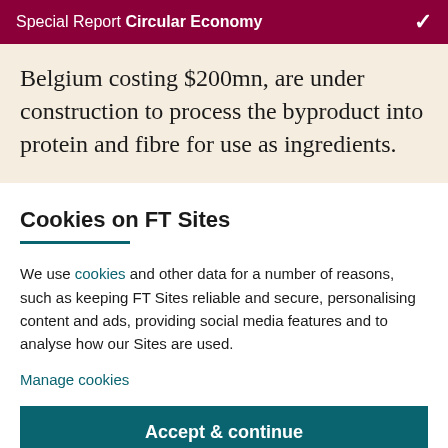Special Report Circular Economy
Belgium costing $200mn, are under construction to process the byproduct into protein and fibre for use as ingredients.
Cookies on FT Sites
We use cookies and other data for a number of reasons, such as keeping FT Sites reliable and secure, personalising content and ads, providing social media features and to analyse how our Sites are used.
Manage cookies
Accept & continue